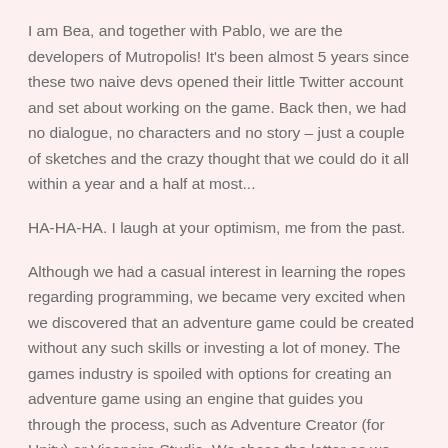I am Bea, and together with Pablo, we are the developers of Mutropolis! It's been almost 5 years since these two naive devs opened their little Twitter account and set about working on the game. Back then, we had no dialogue, no characters and no story – just a couple of sketches and the crazy thought that we could do it all within a year and a half at most...
HA-HA-HA. I laugh at your optimism, me from the past.
Although we had a casual interest in learning the ropes regarding programming, we became very excited when we discovered that an adventure game could be created without any such skills or investing a lot of money. The games industry is spoiled with options for creating an adventure game using an engine that guides you through the process, such as Adventure Creator (for Unity) or Visonaire Studio. We chose the latter as we found it the most accessible.